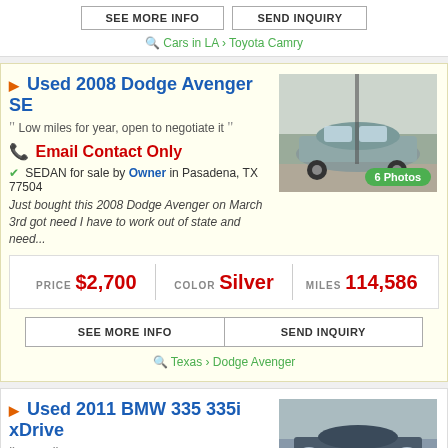SEE MORE INFO | SEND INQUIRY
🔍 Cars in LA › Toyota Camry
Used 2008 Dodge Avenger SE
Low miles for year, open to negotiate it
📞 Email Contact Only
✓ SEDAN for sale by Owner in Pasadena, TX 77504
Just bought this 2008 Dodge Avenger on March 3rd got need I have to work out of state and need...
[Figure (photo): Silver 2008 Dodge Avenger SE car photo with 6 Photos badge]
PRICE $2,700 | COLOR Silver | MILES 114,586
SEE MORE INFO | SEND INQUIRY
🔍 Texas › Dodge Avenger
Used 2011 BMW 335 335i xDrive
AS-IS
📞 443-766-8714
✓ SPORTS COUPE for sale by Owner in Edgewood, MD 21040
[Figure (photo): Dark grey 2011 BMW 335i xDrive front view photo with Top button]